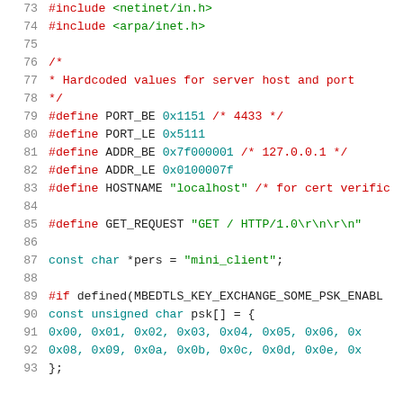[Figure (screenshot): C source code snippet showing #include directives, macro definitions for PORT_BE, PORT_LE, ADDR_BE, ADDR_LE, HOSTNAME, GET_REQUEST, a const char pointer, a #if preprocessor directive, and a const unsigned char array psk[], with line numbers 73–93.]